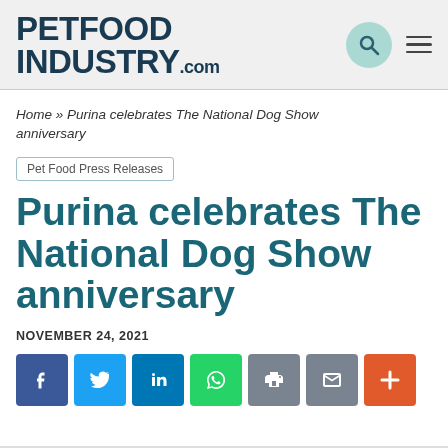PETFOOD INDUSTRY.com
Home » Purina celebrates The National Dog Show anniversary
Pet Food Press Releases
Purina celebrates The National Dog Show anniversary
NOVEMBER 24, 2021
[Figure (infographic): Social sharing buttons: Facebook, Twitter, LinkedIn, WhatsApp, Print, Email, More]